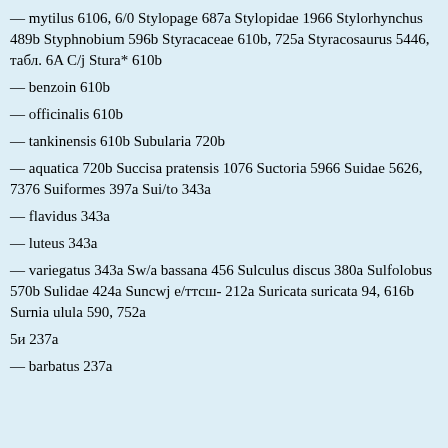— mytilus 6106, 6/0 Stylopage 687a Stylopidae 1966 Stylorhynchus 489b Styphnobium 596b Styracaceae 610b, 725a Styracosaurus 5446, табл. 6A C/j Stura* 610b
— benzoin 610b
— officinalis 610b
— tankinensis 610b Subularia 720b
— aquatica 720b Succisa pratensis 1076 Suctoria 5966 Suidae 5626, 7376 Suiformes 397a Sui/to 343a
— flavidus 343a
— luteus 343a
— variegatus 343a Sw/a bassana 456 Sulculus discus 380a Sulfolobus 570b Sulidae 424a Suncwj e/ттсш- 212a Suricata suricata 94, 616b Surnia ulula 590, 752a
5и 237a
— barbatus 237a